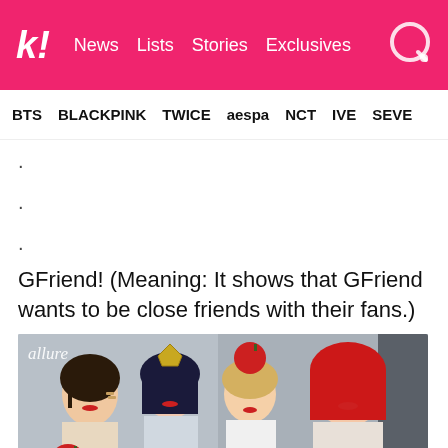k! News Lists Stories Exclusives
BTS BLACKPINK TWICE aespa NCT IVE SEVE
.
.
.
GFriend! (Meaning: It shows that GFriend wants to be close friends with their fans.)
[Figure (photo): Group photo of GFriend members in costume/stage makeup with red apples, with 'allure' watermark in top-left corner]